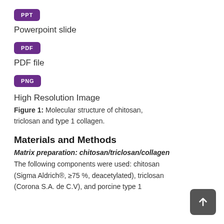[Figure (other): Purple rounded rectangle badge with white text 'PPT']
Powerpoint slide
[Figure (other): Purple rounded rectangle badge with white text 'PDF']
PDF file
[Figure (other): Purple rounded rectangle badge with white text 'PNG']
High Resolution Image
Figure 1: Molecular structure of chitosan, triclosan and type 1 collagen.
Materials and Methods
Matrix preparation: chitosan/triclosan/collagen
The following components were used: chitosan (Sigma Aldrich®, ≥75 %, deacetylated), triclosan (Corona S.A. de C.V), and porcine type 1